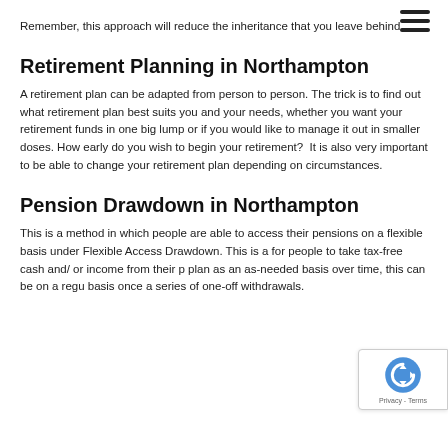Remember, this approach will reduce the inheritance that you leave behind.
Retirement Planning in Northampton
A retirement plan can be adapted from person to person. The trick is to find out what retirement plan best suits you and your needs, whether you want your retirement funds in one big lump or if you would like to manage it out in smaller doses. How early do you wish to begin your retirement?  It is also very important to be able to change your retirement plan depending on circumstances.
Pension Drawdown in Northampton
This is a method in which people are able to access their pensions on a flexible basis under Flexible Access Drawdown. This is a for people to take tax-free cash and/ or income from their p plan as an as-needed basis over time, this can be on a regu basis once a series of one-off withdrawals.